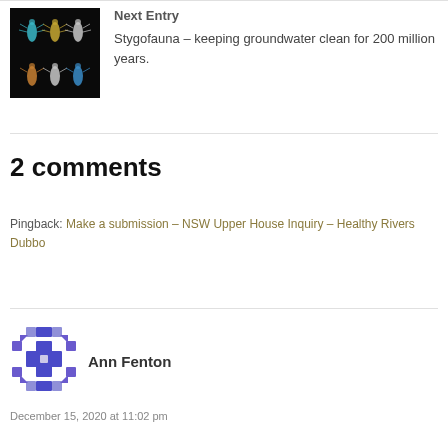[Figure (photo): Thumbnail image of stygofauna specimens on black background]
Next Entry
Stygofauna – keeping groundwater clean for 200 million years.
2 comments
Pingback: Make a submission – NSW Upper House Inquiry – Healthy Rivers Dubbo
[Figure (illustration): Avatar icon for Ann Fenton – geometric purple/blue mosaic pattern]
Ann Fenton
December 15, 2020 at 11:02 pm